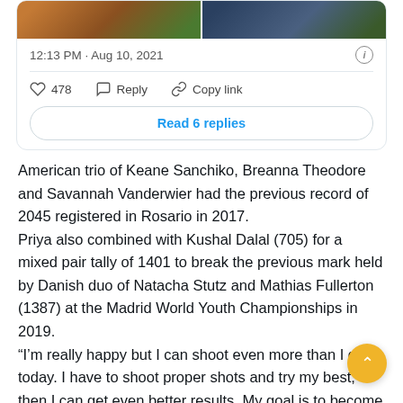[Figure (screenshot): Tweet card with two side-by-side photos of archery athletes, timestamp 12:13 PM · Aug 10, 2021, like count 478, Reply and Copy link actions, and a Read 6 replies button]
American trio of Keane Sanchiko, Breanna Theodore and Savannah Vanderwier had the previous record of 2045 registered in Rosario in 2017.
Priya also combined with Kushal Dalal (705) for a mixed pair tally of 1401 to break the previous mark held by Danish duo of Natacha Stutz and Mathias Fullerton (1387) at the Madrid World Youth Championships in 2019.
“I’m really happy but I can shoot even more than I did today. I have to shoot proper shots and try my best, then I can get even better results. My goal is to become world champion and I will do my best,” 17-year-old Priya said.